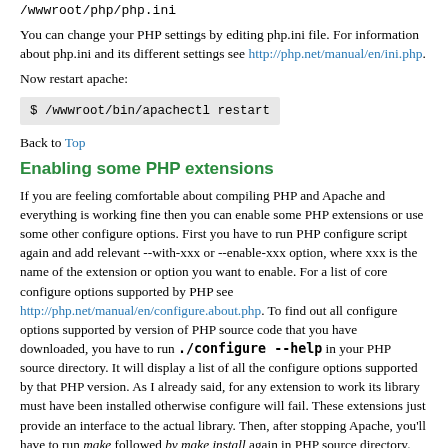/wwwroot/php/php.ini
You can change your PHP settings by editing php.ini file. For information about php.ini and its different settings see http://php.net/manual/en/ini.php.
Now restart apache:
$ /wwwroot/bin/apachectl restart
Back to Top
Enabling some PHP extensions
If you are feeling comfortable about compiling PHP and Apache and everything is working fine then you can enable some PHP extensions or use some other configure options. First you have to run PHP configure script again and add relevant --with-xxx or --enable-xxx option, where xxx is the name of the extension or option you want to enable. For a list of core configure options supported by PHP see http://php.net/manual/en/configure.about.php. To find out all configure options supported by version of PHP source code that you have downloaded, you have to run ./configure --help in your PHP source directory. It will display a list of all the configure options supported by that PHP version. As I already said, for any extension to work its library must have been installed otherwise configure will fail. These extensions just provide an interface to the actual library. Then, after stopping Apache, you'll have to run make followed by make install again in PHP source directory.
For example if you want to create images using PHP, you first need to install gd library using RPMs or by compiling from source. Then you can use --with-gd option to enable gd support from PHP like this: